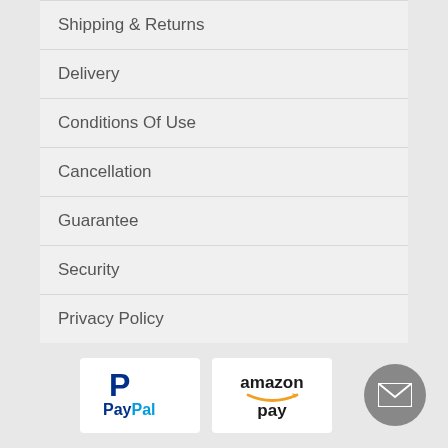Shipping & Returns
Delivery
Conditions Of Use
Cancellation
Guarantee
Security
Privacy Policy
Search Terms
[Figure (logo): PayPal logo]
[Figure (logo): Amazon Pay logo]